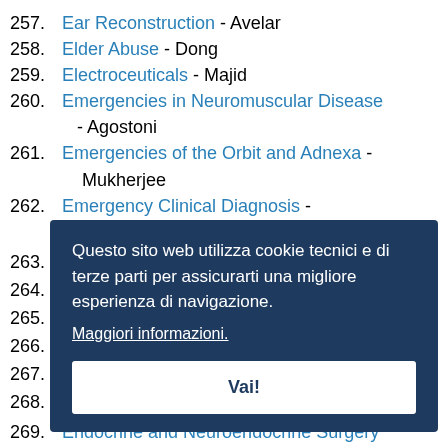257. Ear Reconstruction - Avelar
258. Elder Abuse - Dong
259. Electroceuticals - Majid
260. Emergencies in Neuromuscular Disease - Agostoni
261. Emergencies of the Orbit and Adnexa - Mukherjee
262. Emergency Clinical Diagnosis - Banerejee
263.
264.
265.
266.
267.
268.
269. Endocrine and Neuroendocrine Surgery
Questo sito web utilizza cookie tecnici e di terze parti per assicurarti una migliore esperienza di navigazione. Maggiori informazioni. Vai!